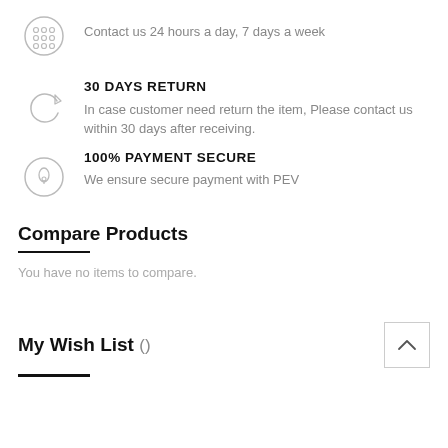Contact us 24 hours a day, 7 days a week
30 DAYS RETURN
In case customer need return the item, Please contact us within 30 days after receiving.
100% PAYMENT SECURE
We ensure secure payment with PEV
Compare Products
You have no items to compare.
My Wish List ()